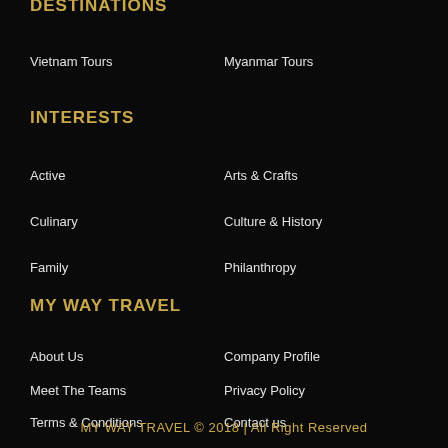DESTINATIONS
Vietnam Tours
Myanmar Tours
INTERESTS
Active
Arts & Crafts
Culinary
Culture & History
Family
Philanthropy
MY WAY TRAVEL
About Us
Company Profile
Meet The Teams
Privacy Policy
Terms & Conditions
Contact us
MY WAY TRAVEL © 2018 | All Right Reserved